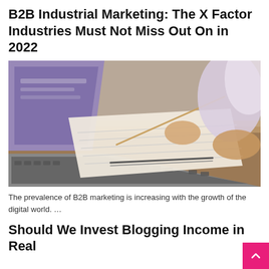B2B Industrial Marketing: The X Factor Industries Must Not Miss Out On in 2022
[Figure (photo): Two people at a desk working on laptops, one writing in a notebook with a pen]
The prevalence of B2B marketing is increasing with the growth of the digital world. …
Should We Invest Blogging Income in Real